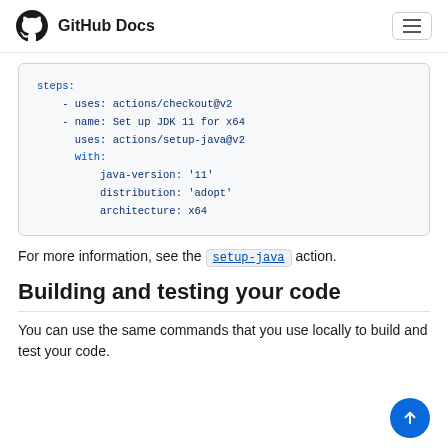GitHub Docs
[Figure (screenshot): Code block showing YAML workflow steps: steps: - uses: actions/checkout@v2 - name: Set up JDK 11 for x64   uses: actions/setup-java@v2   with:     java-version: '11'     distribution: 'adopt'     architecture: x64]
For more information, see the setup-java action.
Building and testing your code
You can use the same commands that you use locally to build and test your code.